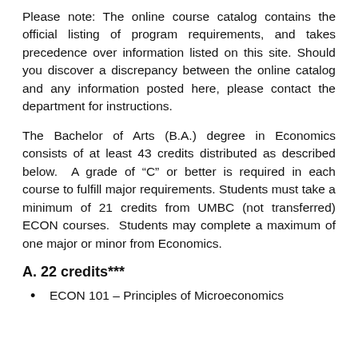Please note: The online course catalog contains the official listing of program requirements, and takes precedence over information listed on this site. Should you discover a discrepancy between the online catalog and any information posted here, please contact the department for instructions.
The Bachelor of Arts (B.A.) degree in Economics consists of at least 43 credits distributed as described below. A grade of “C” or better is required in each course to fulfill major requirements. Students must take a minimum of 21 credits from UMBC (not transferred) ECON courses. Students may complete a maximum of one major or minor from Economics.
A. 22 credits***
ECON 101 – Principles of Microeconomics